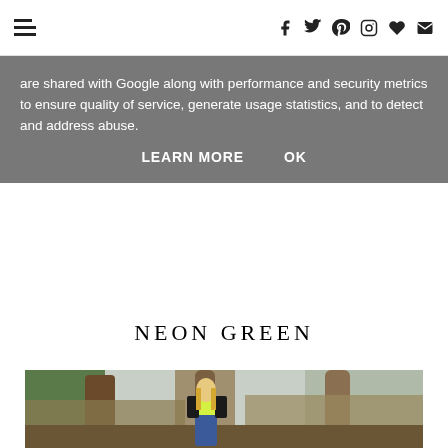Navigation bar with hamburger/list icon on left and social icons (facebook, twitter, pinterest, instagram, heart, email) on right
are shared with Google along with performance and security metrics to ensure quality of service, generate usage statistics, and to detect and address abuse.
LEARN MORE   OK
NEON GREEN
[Figure (photo): A blonde woman wearing sunglasses, a black leather jacket, a neon yellow top, and blue jeans, standing outdoors in a garden with bare trees, a wooden fence, and fallen branches.]